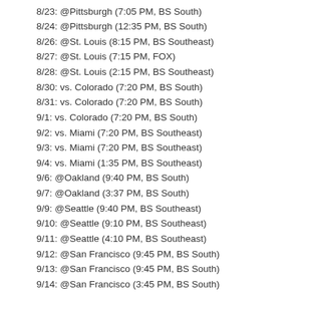8/23: @Pittsburgh (7:05 PM, BS South)
8/24: @Pittsburgh (12:35 PM, BS South)
8/26: @St. Louis (8:15 PM, BS Southeast)
8/27: @St. Louis (7:15 PM, FOX)
8/28: @St. Louis (2:15 PM, BS Southeast)
8/30: vs. Colorado (7:20 PM, BS South)
8/31: vs. Colorado (7:20 PM, BS South)
9/1: vs. Colorado (7:20 PM, BS South)
9/2: vs. Miami (7:20 PM, BS Southeast)
9/3: vs. Miami (7:20 PM, BS Southeast)
9/4: vs. Miami (1:35 PM, BS Southeast)
9/6: @Oakland (9:40 PM, BS South)
9/7: @Oakland (3:37 PM, BS South)
9/9: @Seattle (9:40 PM, BS Southeast)
9/10: @Seattle (9:10 PM, BS Southeast)
9/11: @Seattle (4:10 PM, BS Southeast)
9/12: @San Francisco (9:45 PM, BS South)
9/13: @San Francisco (9:45 PM, BS South)
9/14: @San Francisco (3:45 PM, BS South)